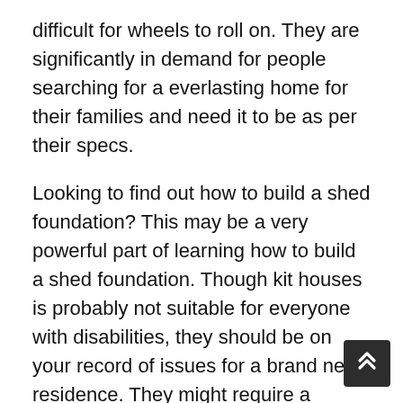difficult for wheels to roll on. They are significantly in demand for people searching for a everlasting home for their families and need it to be as per their specs.
Looking to find out how to build a shed foundation? This may be a very powerful part of learning how to build a shed foundation. Though kit houses is probably not suitable for everyone with disabilities, they should be on your record of issues for a brand new residence. They might require a bigger down cost upfront in some circumstances nonetheless consumers sometimes manage to negotiate a snug mortgage fee with the shopper house builder's financing firm. Customer made homes also take pleasure in flexible financing options. This makes custom properties a very talked-about and attractive prospect to house consumers. Some individuals simply desire a simple dwelling design without added luxuries. It is not possible for